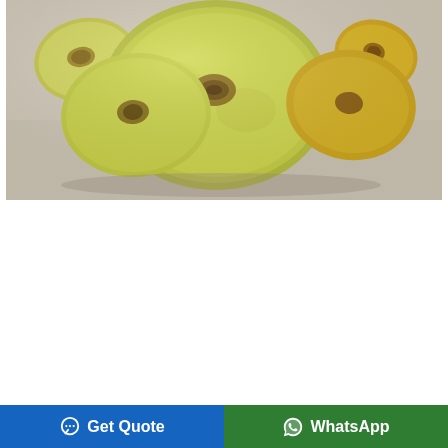[Figure (photo): Close-up photo of dried banana chips/slices arranged on a light fabric surface. The chips are pale yellow-green with brown centers, showing the natural texture of dehydrated banana slices.]
Get Quote
WhatsApp